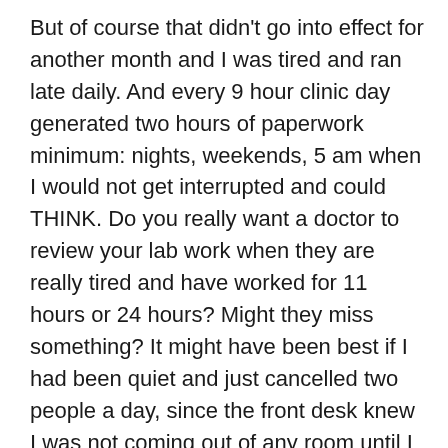But of course that didn't go into effect for another month and I was tired and ran late daily. And every 9 hour clinic day generated two hours of paperwork minimum: nights, weekends, 5 am when I would not get interrupted and could THINK. Do you really want a doctor to review your lab work when they are really tired and have worked for 11 hours or 24 hours? Might they miss something? It might have been best if I had been quiet and just cancelled two people a day, since the front desk knew I was not coming out of any room until I was done, but I argued instead.
The point is, you would like to see a doctor who listens and is thorough. You do not actually want a medical system where there all these other people who read your patient history forms and enter them in to the computer and your doctor tries to find the time to read it, like drinking